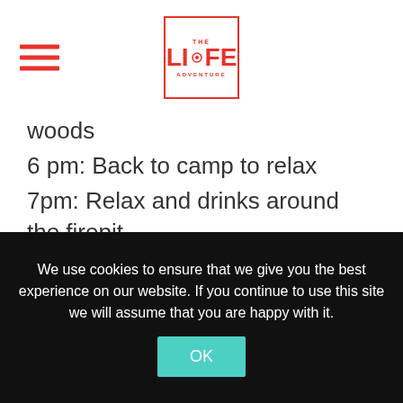THE LIFE ADVENTURE (logo)
woods
6 pm: Back to camp to relax
7pm: Relax and drinks around the firepit
8 pm Dinner in the Giant Tipi or outdoors on long tables
Day 3
8.30 am: Breakfast in Giant Tipi or outdoors on long tables
We use cookies to ensure that we give you the best experience on our website. If you continue to use this site we will assume that you are happy with it.